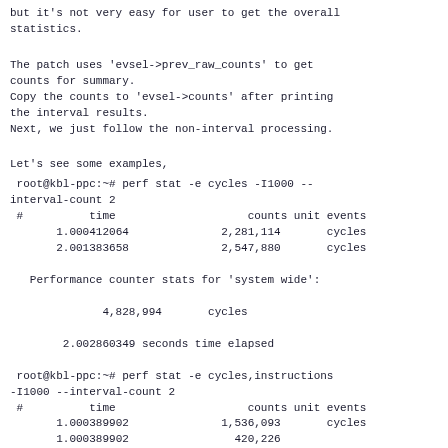but it's not very easy for user to get the overall statistics.
The patch uses 'evsel->prev_raw_counts' to get counts for summary.
Copy the counts to 'evsel->counts' after printing the interval results.
Next, we just follow the non-interval processing.
Let's see some examples,
root@kbl-ppc:~# perf stat -e cycles -I1000 --interval-count 2
 #          time                    counts unit events
       1.000412064              2,281,114       cycles
       2.001383658              2,547,880       cycles

   Performance counter stats for 'system wide':

              4,828,994       cycles

        2.002860349 seconds time elapsed

 root@kbl-ppc:~# perf stat -e cycles,instructions -I1000 --interval-count 2
 #          time                    counts unit events
       1.000389902              1,536,093       cycles
       1.000389902                420,226
instructions                    #      0.27  insn per
cycle